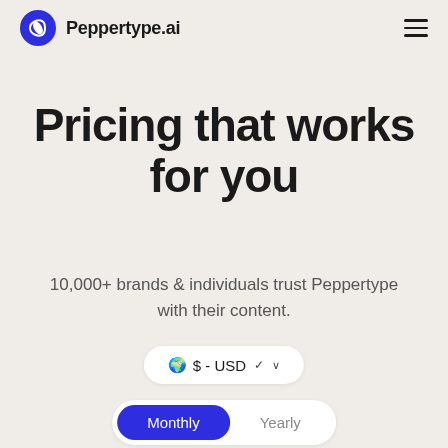Peppertype.ai
Pricing that works for you
10,000+ brands & individuals trust Peppertype with their content.
[Figure (screenshot): Currency selector pill showing globe emoji and '$ - USD' with a dropdown chevron]
[Figure (screenshot): Toggle switch with 'Monthly' (active, blue) and 'Yearly' (inactive, grey) options]